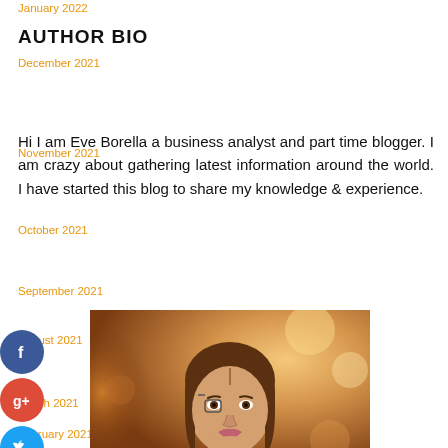January 2022
AUTHOR BIO
December 2021
November 2021
Hi I am Eve Borella a business analyst and part time blogger. I am crazy about gathering latest information around the world. I have started this blog to share my knowledge & experience.
October 2021
September 2021
August 2021
[Figure (photo): Portrait photo of a woman with brown hair wearing a black top, with a warm bokeh outdoor background]
March 2021
February 2021